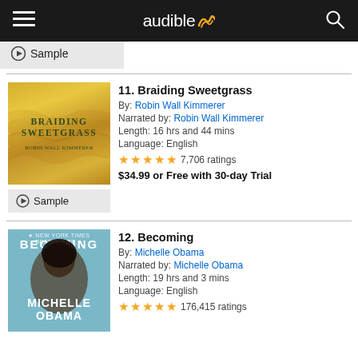audible
Sample
11. Braiding Sweetgrass
By: Robin Wall Kimmerer
Narrated by: Robin Wall Kimmerer
Length: 16 hrs and 44 mins
Language: English
★★★★★ 7,706 ratings
$34.99 or Free with 30-day Trial
Sample
12. Becoming
By: Michelle Obama
Narrated by: Michelle Obama
Length: 19 hrs and 3 mins
Language: English
★★★★★ 176,415 ratings